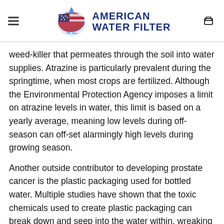AMERICAN WATER FILTER
weed-killer that permeates through the soil into water supplies. Atrazine is particularly prevalent during the springtime, when most crops are fertilized. Although the Environmental Protection Agency imposes a limit on atrazine levels in water, this limit is based on a yearly average, meaning low levels during off-season can off-set alarmingly high levels during growing season.
Another outside contributor to developing prostate cancer is the plastic packaging used for bottled water. Multiple studies have shown that the toxic chemicals used to create plastic packaging can break down and seep into the water within, wreaking havoc on the body. Prostate cancer is especially sensitive to environmental factors, making bottled water a particular concern. Avoid large water containers whenever